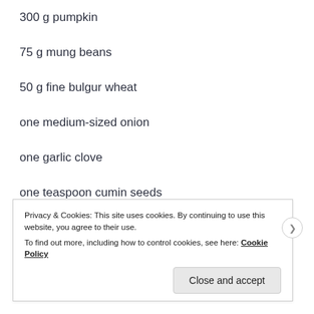300 g pumpkin
75 g mung beans
50 g fine bulgur wheat
one medium-sized onion
one garlic clove
one teaspoon cumin seeds
one teaspoon dried thyme
Privacy & Cookies: This site uses cookies. By continuing to use this website, you agree to their use. To find out more, including how to control cookies, see here: Cookie Policy